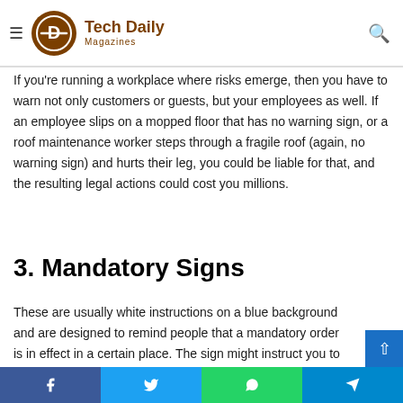Tech Daily Magazines
If you're running a workplace where risks emerge, then you have to warn not only customers or guests, but your employees as well. If an employee slips on a mopped floor that has no warning sign, or a roof maintenance worker steps through a fragile roof (again, no warning sign) and hurts their leg, you could be liable for that, and the resulting legal actions could cost you millions.
3. Mandatory Signs
These are usually white instructions on a blue background and are designed to remind people that a mandatory order is in effect in a certain place. The sign might instruct you to wear